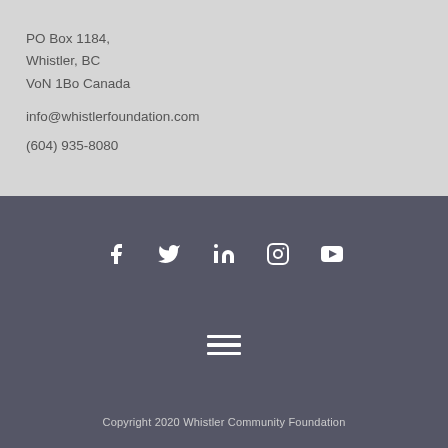PO Box 1184,
Whistler, BC
VoN 1Bo Canada
info@whistlerfoundation.com
(604) 935-8080
[Figure (infographic): Row of social media icons: Facebook, Twitter, LinkedIn, Instagram, YouTube — white icons on dark grey background]
[Figure (infographic): Hamburger menu icon — three horizontal white lines]
Copyright 2020 Whistler Community Foundation